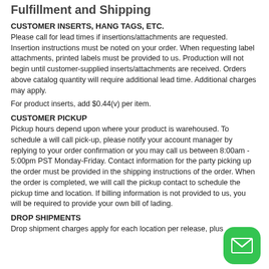Fulfillment and Shipping
CUSTOMER INSERTS, HANG TAGS, ETC.
Please call for lead times if insertions/attachments are requested. Insertion instructions must be noted on your order. When requesting label attachments, printed labels must be provided to us. Production will not begin until customer-supplied inserts/attachments are received. Orders above catalog quantity will require additional lead time. Additional charges may apply.
For product inserts, add $0.44(v) per item.
CUSTOMER PICKUP
Pickup hours depend upon where your product is warehoused. To schedule a will call pick-up, please notify your account manager by replying to your order confirmation or you may call us between 8:00am - 5:00pm PST Monday-Friday. Contact information for the party picking up the order must be provided in the shipping instructions of the order. When the order is completed, we will call the pickup contact to schedule the pickup time and location. If billing information is not provided to us, you will be required to provide your own bill of lading.
DROP SHIPMENTS
Drop shipment charges apply for each location per release, plus